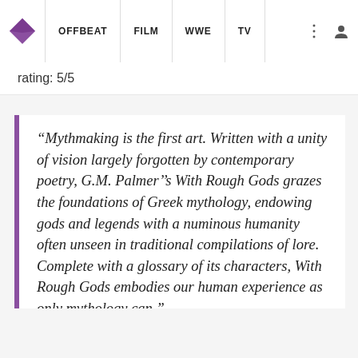OFFBEAT | FILM | WWE | TV
rating: 5/5
“Mythmaking is the first art. Written with a unity of vision largely forgotten by contemporary poetry, G.M. Palmer’s With Rough Gods grazes the foundations of Greek mythology, endowing gods and legends with a numinous humanity often unseen in traditional compilations of lore. Complete with a glossary of its characters, With Rough Gods embodies our human experience as only mythology can.”